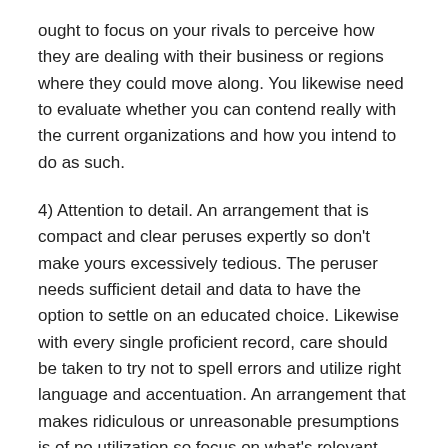ought to focus on your rivals to perceive how they are dealing with their business or regions where they could move along. You likewise need to evaluate whether you can contend really with the current organizations and how you intend to do as such.
4) Attention to detail. An arrangement that is compact and clear peruses expertly so don't make yours excessively tedious. The peruser needs sufficient detail and data to have the option to settle on an educated choice. Likewise with every single proficient record, care should be taken to try not to spell errors and utilize right language and accentuation. An arrangement that makes ridiculous or unreasonable presumptions is of no utilization so focus on what's relevant and ensure you are making tenable projections and precise substance consistently.